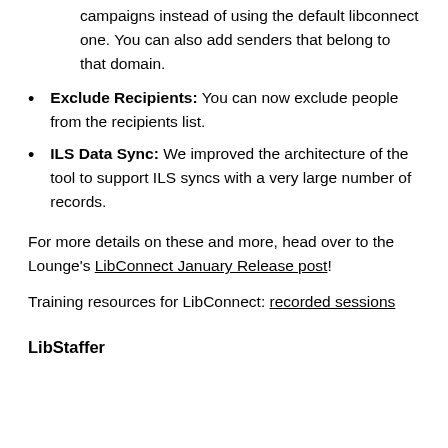register your own domain for sending email campaigns instead of using the default libconnect one. You can also add senders that belong to that domain.
Exclude Recipients: You can now exclude people from the recipients list.
ILS Data Sync: We improved the architecture of the tool to support ILS syncs with a very large number of records.
For more details on these and more, head over to the Lounge's LibConnect January Release post!
Training resources for LibConnect: recorded sessions
LibStaffer